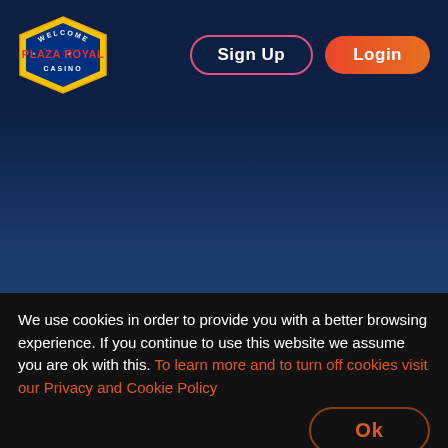[Figure (logo): Plaza Royal Casino logo — diamond/star shape with 'WELCOME PLAZA ROYAL CASINO' text]
Sign Up
Login
Frequently Asked Questions
Are there advantages to online
We use cookies in order to provide you with a better browsing experience. If you continue to use this website we assume you are ok with this. To learn more and to turn off cookies visit our Privacy and Cookie Policy
Ok